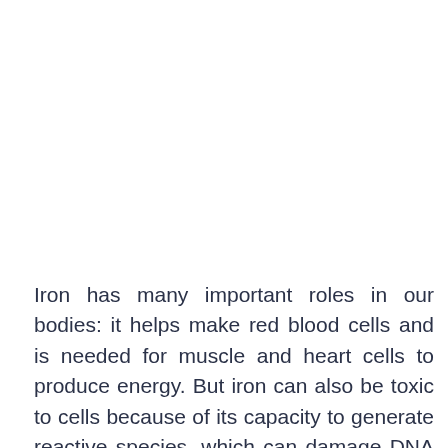Iron has many important roles in our bodies: it helps make red blood cells and is needed for muscle and heart cells to produce energy. But iron can also be toxic to cells because of its capacity to generate reactive species, which can damage DNA and proteins. Ferritin captures and buffers the iron within cells and is very important for good health [1].